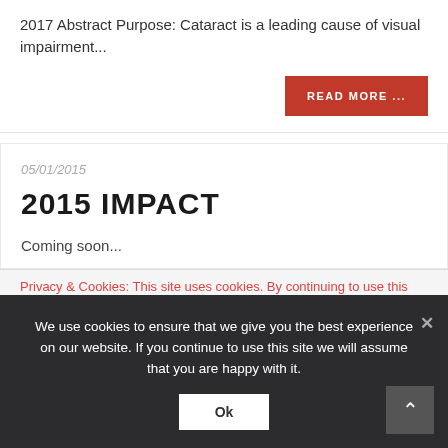2017 Abstract Purpose: Cataract is a leading cause of visual impairment...
READ MORE ...
05/01/2015
2015 IMPACT
Coming soon...
Privacy & Cookies: This site uses cookies. By continuing to use this
We use cookies to ensure that we give you the best experience on our website. If you continue to use this site we will assume that you are happy with it.
Ok